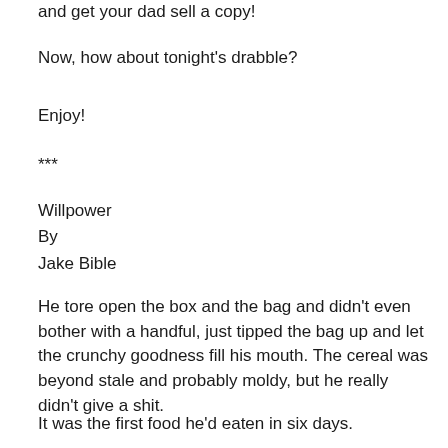and get your dad sell a copy!
Now, how about tonight's drabble?
Enjoy!
***
Willpower
By
Jake Bible
He tore open the box and the bag and didn't even bother with a handful, just tipped the bag up and let the crunchy goodness fill his mouth. The cereal was beyond stale and probably moldy, but he really didn't give a shit.
It was the first food he'd eaten in six days.
It took all of his willpower to set the cereal aside and not